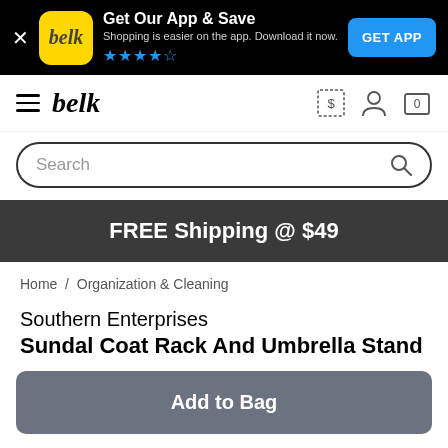[Figure (screenshot): App download banner with Belk logo, star rating, and GET APP button on black background]
[Figure (logo): Belk navigation bar with hamburger menu, Belk logo, coupon icon, account icon, and cart icon]
Search
FREE Shipping @ $49
Home / Organization & Cleaning
Southern Enterprises
Sundal Coat Rack And Umbrella Stand
Add to Bag